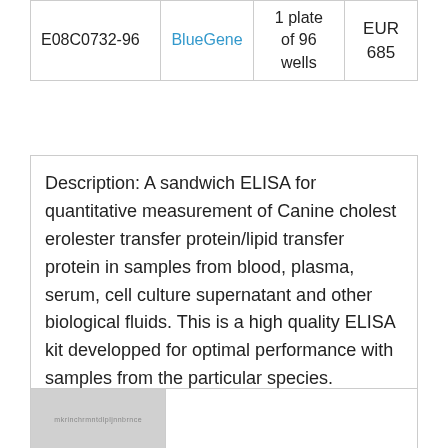| E08C0732-96 | BlueGene | 1 plate of 96 wells | EUR 685 |
Description: A sandwich ELISA for quantitative measurement of Canine cholest erolester transfer protein/lipid transfer protein in samples from blood, plasma, serum, cell culture supernatant and other biological fluids. This is a high quality ELISA kit developped for optimal performance with samples from the particular species.
| [image placeholder] |  |